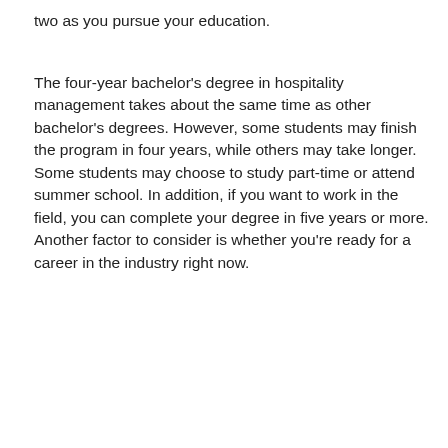two as you pursue your education.
The four-year bachelor's degree in hospitality management takes about the same time as other bachelor's degrees. However, some students may finish the program in four years, while others may take longer. Some students may choose to study part-time or attend summer school. In addition, if you want to work in the field, you can complete your degree in five years or more. Another factor to consider is whether you're ready for a career in the industry right now.